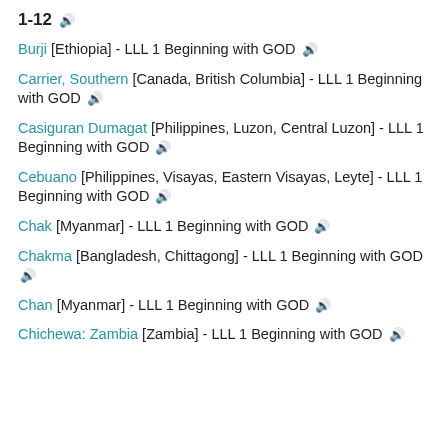1-12 🔊
Burji [Ethiopia] - LLL 1 Beginning with GOD 🔊
Carrier, Southern [Canada, British Columbia] - LLL 1 Beginning with GOD 🔊
Casiguran Dumagat [Philippines, Luzon, Central Luzon] - LLL 1 Beginning with GOD 🔊
Cebuano [Philippines, Visayas, Eastern Visayas, Leyte] - LLL 1 Beginning with GOD 🔊
Chak [Myanmar] - LLL 1 Beginning with GOD 🔊
Chakma [Bangladesh, Chittagong] - LLL 1 Beginning with GOD 🔊
Chan [Myanmar] - LLL 1 Beginning with GOD 🔊
Chichewa: Zambia [Zambia] - LLL 1 Beginning with GOD 🔊